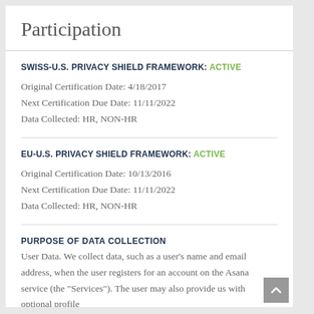Participation
SWISS-U.S. PRIVACY SHIELD FRAMEWORK: ACTIVE
Original Certification Date: 4/18/2017
Next Certification Due Date: 11/11/2022
Data Collected: HR, NON-HR
EU-U.S. PRIVACY SHIELD FRAMEWORK: ACTIVE
Original Certification Date: 10/13/2016
Next Certification Due Date: 11/11/2022
Data Collected: HR, NON-HR
PURPOSE OF DATA COLLECTION
User Data. We collect data, such as a user's name and email address, when the user registers for an account on the Asana service (the "Services"). The user may also provide us with optional profile